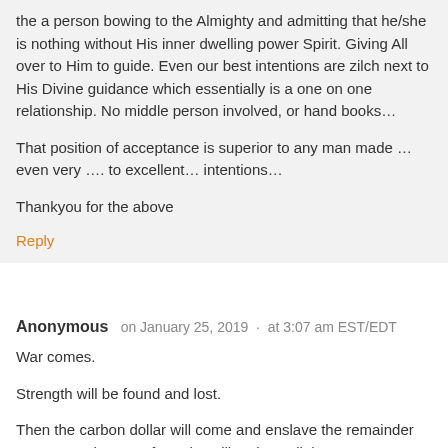the a person bowing to the Almighty and admitting that he/she is nothing without His inner dwelling power Spirit. Giving All over to Him to guide. Even our best intentions are zilch next to His Divine guidance which essentially is a one on one relationship. No middle person involved, or hand books…
That position of acceptance is superior to any man made … even very …. to excellent… intentions…
Thankyou for the above
Reply
Anonymous   on January 25, 2019  ·  at 3:07 am EST/EDT
War comes.
Strength will be found and lost.
Then the carbon dollar will come and enslave the remainder except one hopes a few who will resist until then.
Strength is a mercy.
Reply